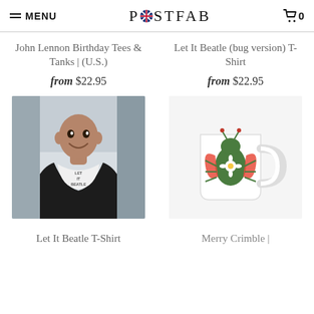MENU | POSTFAB | 0
John Lennon Birthday Tees & Tanks | (U.S.)
from $22.95
Let It Beatle (bug version) T-Shirt
from $22.95
[Figure (photo): Man wearing a white Let It Beatle t-shirt, smiling, outdoors]
[Figure (photo): White mug with a colorful bug/beetle design]
Let It Beatle T-Shirt
Merry Crimble |